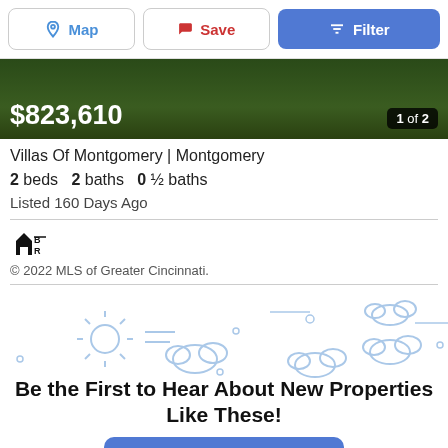[Figure (screenshot): Top navigation bar with Map, Save, and Filter buttons]
[Figure (photo): Property image showing grass/lawn, dark green background with price overlay $823,610 and page indicator 1 of 2]
Villas Of Montgomery | Montgomery
2 beds   2 baths   0 ½ baths
Listed 160 Days Ago
[Figure (logo): MLS house/BR logo icon]
© 2022 MLS of Greater Cincinnati.
[Figure (illustration): Weather illustration with sun, clouds, lines in light blue]
Be the First to Hear About New Properties Like These!
Notify Me